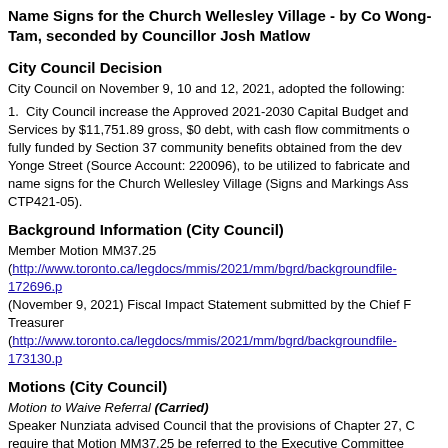Name Signs for the Church Wellesley Village - by Councillor Kristyn Wong-Tam, seconded by Councillor Josh Matlow
City Council Decision
City Council on November 9, 10 and 12, 2021, adopted the following:
1.  City Council increase the Approved 2021-2030 Capital Budget and Plan for Transportation Services by $11,751.89 gross, $0 debt, with cash flow commitments of $11,751.89 in 2021, fully funded by Section 37 community benefits obtained from the development located at 585 Yonge Street (Source Account: 220096), to be utilized to fabricate and install new neighbourhood name signs for the Church Wellesley Village (Signs and Markings Assignments WBS element CTP421-05).
Background Information (City Council)
Member Motion MM37.25
(http://www.toronto.ca/legdocs/mmis/2021/mm/bgrd/backgroundfile-172696.p…
(November 9, 2021) Fiscal Impact Statement submitted by the Chief Financial Officer and Treasurer
(http://www.toronto.ca/legdocs/mmis/2021/mm/bgrd/backgroundfile-173130.p…
Motions (City Council)
Motion to Waive Referral (Carried)
Speaker Nunziata advised Council that the provisions of Chapter 27, City Council Procedures, require that Motion MM37.25 be referred to the Executive Committee unless two-thirds of Council Members present is required to waive referral.